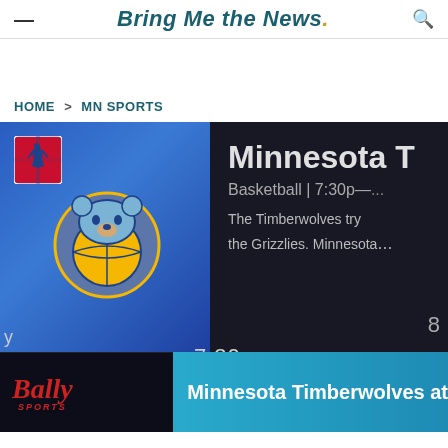Bring Me the News.
HOME > MN SPORTS
[Figure (screenshot): TV guide screenshot showing Minnesota Timberwolves basketball game listing at 7:30p. Left panel shows blue tile with NBA logo and Memphis Grizzlies logo. Right dark panel shows 'Minnesota T...' title, 'Basketball | 7:30p—...' subtitle, description 'The Timberwolves try... the Grizzlies. Minnesota...' Bottom row shows Bally Sports logo on left and 'Minnesota Timberwolves at' text on cyan bar.]